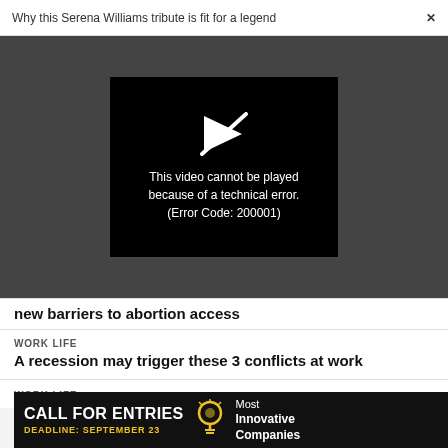Why this Serena Williams tribute is fit for a legend  ×
[Figure (screenshot): Video player showing error message: 'This video cannot be played because of a technical error. (Error Code: 200001)' with a play icon crossed out, on black background inside a dark gray video area.]
new barriers to abortion access
WORK LIFE
A recession may trigger these 3 conflicts at work
WORK LIFE
[Figure (infographic): Advertisement banner: CALL FOR ENTRIES, DEADLINE: SEPTEMBER 23, light bulb icon, Most Innovative Companies]